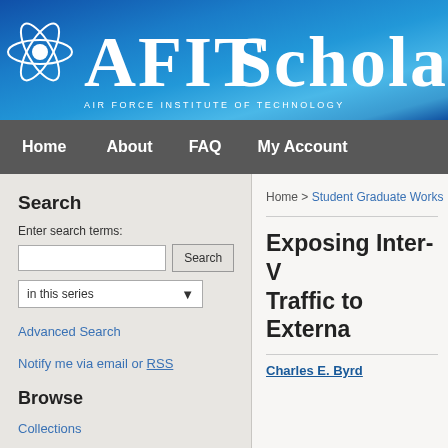[Figure (logo): AFIT Scholar logo with atom icon and text 'AFIT Scholar' on blue gradient background, with subtitle 'Air Force Institute of Technology']
Home   About   FAQ   My Account
Search
Enter search terms:
Browse
Collections
Disciplines
Home > Student Graduate Works
Exposing Inter-V... Traffic to Externa...
Charles E. Byrd